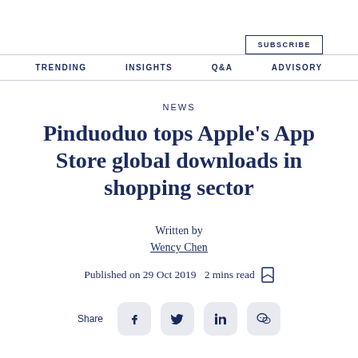SUBSCRIBE
TRENDING  INSIGHTS  Q&A  ADVISORY
NEWS
Pinduoduo tops Apple’s App Store global downloads in shopping sector
Written by
Wency Chen
Published on 29 Oct 2019  2 mins read
Share